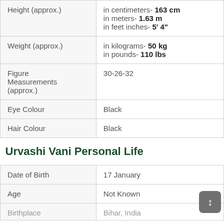| Height (approx.) | in centimeters- 163 cm
in meters- 1.63 m
in feet inches- 5' 4" |
| Weight (approx.) | in kilograms- 50 kg
in pounds- 110 lbs |
| Figure Measurements (approx.) | 30-26-32 |
| Eye Colour | Black |
| Hair Colour | Black |
| Urvashi Vani Personal Life |  |
| Date of Birth | 17 January |
| Age | Not Known |
| Birthplace | Bihar, India |